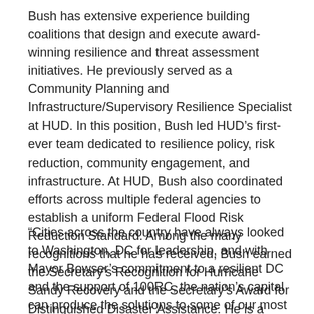Bush has extensive experience building coalitions that design and execute award-winning resilience and threat assessment initiatives. He previously served as a Community Planning and Infrastructure/Supervisory Resilience Specialist at HUD. In this position, Bush led HUD's first-ever team dedicated to resilience policy, risk reduction, community engagement, and infrastructure. At HUD, Bush also coordinated efforts across multiple federal agencies to establish a uniform Federal Flood Risk Reduction Standard. Among the many recognitions that he has received, Bush earned the Secretary's Recognition for Hurricane Sandy Recovery and the Secretary's Award for Distinguished Disaster Assistance. He is a recognized leader of national policy and best practices to address climate change and issues of affordable housing and planning at the municipal and regional levels.
“Cities across the country have always looked to Washington, DC for leadership, and with Mayor Bowser’s commitment to a resilient DC and the support of 100RC, the nation’s capital can produce the solutions to some of our most complex 21st century challenges,” said Chief Resilience Officer Bush. “I’m excited to